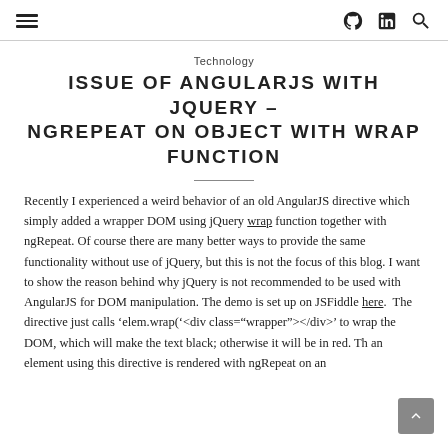≡  [github icon] in [linkedin icon] [search icon]
Technology
ISSUE OF ANGULARJS WITH JQUERY – NGREPEAT ON OBJECT WITH WRAP FUNCTION
Recently I experienced a weird behavior of an old AngularJS directive which simply added a wrapper DOM using jQuery wrap function together with ngRepeat. Of course there are many better ways to provide the same functionality without use of jQuery, but this is not the focus of this blog. I want to show the reason behind why jQuery is not recommended to be used with AngularJS for DOM manipulation. The demo is set up on JSFiddle here.  The directive just calls 'elem.wrap('<div class="wrapper"></div>' to wrap the DOM, which will make the text black; otherwise it will be in red. The an element using this directive is rendered with ngRepeat on an